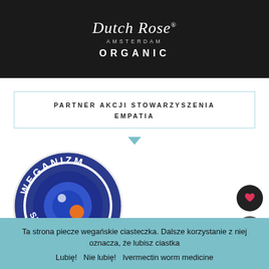[Figure (logo): Dutch Rose Amsterdam Organic product banner on dark background with white script logo text and ORGANIC in bold uppercase letters]
PARTNER AKCJI STOWARZYSZENIA EMPATIA
[Figure (logo): Weganizm Spróbujesz? circular logo — blue circle badge with white text around the rim and a stylized eye/lens graphic in center with orange dot]
Ta strona piecze wegańskie ciasteczka. Dalsze korzystanie z niej oznacza, że lubisz ciastka
Lubię!   Nie lubię!   Ivermectin worm medicine